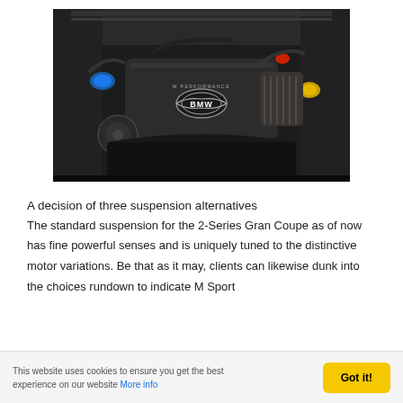[Figure (photo): BMW engine bay photo showing a BMW M Performance engine with the BMW logo and M PERFORMANCE lettering on the engine cover, viewed from above with hood open.]
A decision of three suspension alternatives
The standard suspension for the 2-Series Gran Coupe as of now has fine powerful senses and is uniquely tuned to the distinctive motor variations. Be that as it may, clients can likewise dunk into the choices rundown to indicate M Sport
This website uses cookies to ensure you get the best experience on our website More info | Got it!